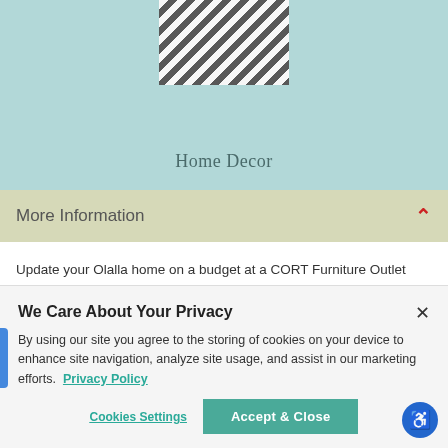[Figure (photo): Decorative pillow with black and white geometric pattern, partially visible at top of image]
Home Decor
More Information
Update your Olalla home on a budget at a CORT Furniture Outlet near 98359. Make a bold statement or keep things classic. We have the home furnishings to match!
We Care About Your Privacy
By using our site you agree to the storing of cookies on your device to enhance site navigation, analyze site usage, and assist in our marketing efforts.  Privacy Policy